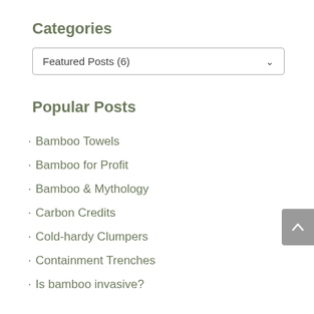Categories
Featured Posts  (6)
Popular Posts
· Bamboo Towels
· Bamboo for Profit
· Bamboo & Mythology
· Carbon Credits
· Cold-hardy Clumpers
· Containment Trenches
· Is bamboo invasive?